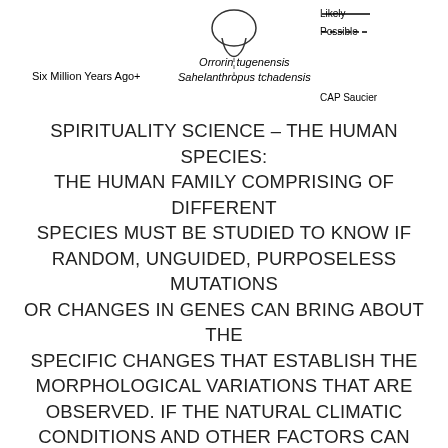[Figure (illustration): Partial phylogenetic tree diagram showing skull illustration, lines for Likely and Possible lineages, with labels for Orrorin tugenensis and Sahelanthropus tchadensis at Six Million Years Ago+. Credit: CAP Saucier.]
Six Million Years Ago+
Orrorin tugenensis
Sahelanthropus tchadensis
CAP Saucier
SPIRITUALITY SCIENCE – THE HUMAN SPECIES: THE HUMAN FAMILY COMPRISING OF DIFFERENT SPECIES MUST BE STUDIED TO KNOW IF RANDOM, UNGUIDED, PURPOSELESS MUTATIONS OR CHANGES IN GENES CAN BRING ABOUT THE SPECIFIC CHANGES THAT ESTABLISH THE MORPHOLOGICAL VARIATIONS THAT ARE OBSERVED. IF THE NATURAL CLIMATIC CONDITIONS AND OTHER FACTORS CAN SUPPORT THE EXISTENCE OF THE HUMAN SPECIES, IT MUST BE EXPLAINED AS THE CAUSE OF THE EXTINCTION OF ALL OTHER SPECIES OF THE HOMO GENUS.